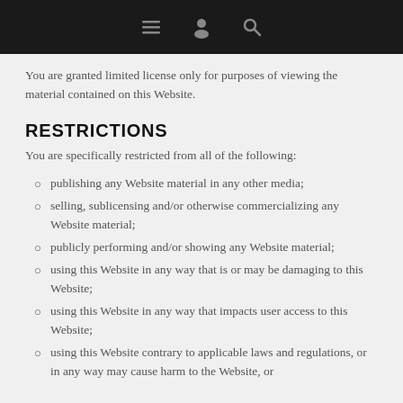[Figure (other): Dark top navigation bar with hamburger menu, user profile icon, and search icon in grey]
You are granted limited license only for purposes of viewing the material contained on this Website.
RESTRICTIONS
You are specifically restricted from all of the following:
publishing any Website material in any other media;
selling, sublicensing and/or otherwise commercializing any Website material;
publicly performing and/or showing any Website material;
using this Website in any way that is or may be damaging to this Website;
using this Website in any way that impacts user access to this Website;
using this Website contrary to applicable laws and regulations, or in any way may cause harm to the Website, or